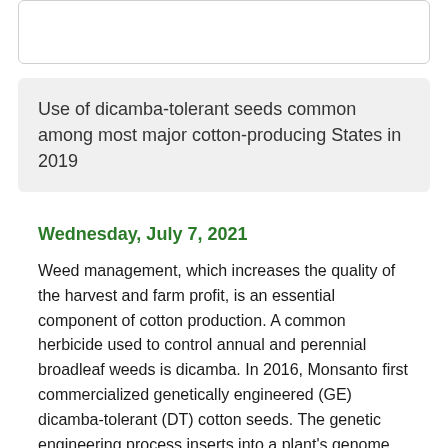Use of dicamba-tolerant seeds common among most major cotton-producing States in 2019
Wednesday, July 7, 2021
Weed management, which increases the quality of the harvest and farm profit, is an essential component of cotton production. A common herbicide used to control annual and perennial broadleaf weeds is dicamba. In 2016, Monsanto first commercialized genetically engineered (GE) dicamba-tolerant (DT) cotton seeds. The genetic engineering process inserts into a plant's genome traits, such as the ability to tolerate herbicide applications. Data from USDA's Agricultural Resource Management Survey, which covered the